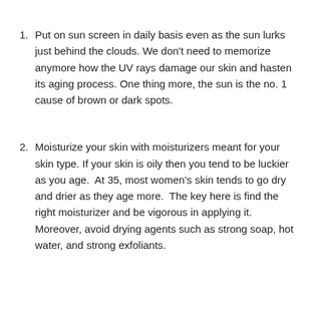1. Put on sun screen in daily basis even as the sun lurks just behind the clouds. We don’t need to memorize anymore how the UV rays damage our skin and hasten its aging process. One thing more, the sun is the no. 1 cause of brown or dark spots.
2. Moisturize your skin with moisturizers meant for your skin type. If your skin is oily then you tend to be luckier as you age.  At 35, most women’s skin tends to go dry and drier as they age more.  The key here is find the right moisturizer and be vigorous in applying it.  Moreover, avoid drying agents such as strong soap, hot water, and strong exfoliants.